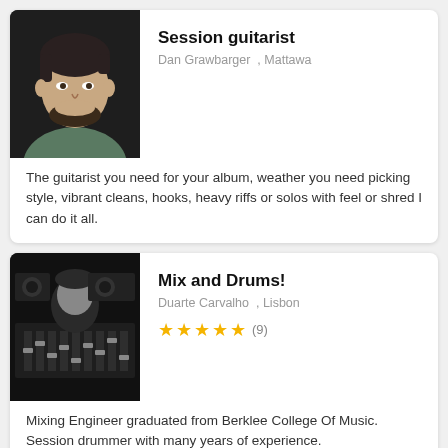[Figure (photo): Headshot of Dan Grawbarger, a man with dark hair and beard wearing a gray t-shirt, against a dark background.]
Session guitarist
Dan Grawbarger , Mattawa
The guitarist you need for your album, weather you need picking style, vibrant cleans, hooks, heavy riffs or solos with feel or shred I can do it all.
[Figure (photo): Black and white photo of Duarte Carvalho at a mixing console in a recording studio.]
Mix and Drums!
Duarte Carvalho , Lisbon
★★★★★ (9)
Mixing Engineer graduated from Berklee College Of Music. Session drummer with many years of experience.
[Figure (photo): Photo of Emill Núñez wearing sunglasses with a blue/teal tone, outdoors.]
Music Producer
Emill Núñez , Santiago De Los